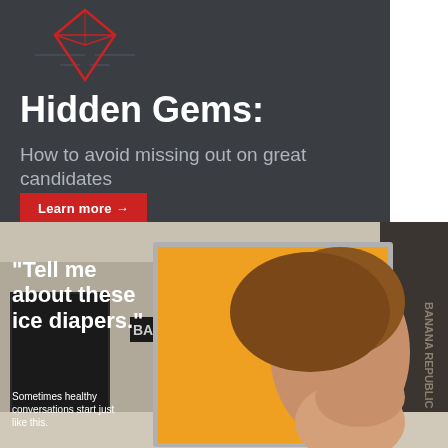[Figure (illustration): Dark charcoal banner with a red diamond/gem icon at top, bold white title 'Hidden Gems:', gray subtitle 'How to avoid missing out on great candidates', and a red 'Learn more →' button.]
[Figure (photo): Street-level photo of a shopping mall exterior with an illuminated outdoor advertisement board showing an orange background with a smiling woman and text: '"Tell me about these ice diapers."' and subtext 'Sometimes healthy conversations start just like this.' Banana Republic store visible in background.]